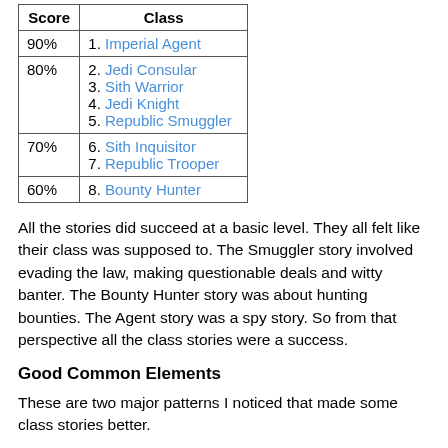| Score | Class |
| --- | --- |
| 90% | 1. Imperial Agent |
| 80% | 2. Jedi Consular
3. Sith Warrior
4. Jedi Knight
5. Republic Smuggler |
| 70% | 6. Sith Inquisitor
7. Republic Trooper |
| 60% | 8. Bounty Hunter |
All the stories did succeed at a basic level. They all felt like their class was supposed to. The Smuggler story involved evading the law, making questionable deals and witty banter. The Bounty Hunter story was about hunting bounties. The Agent story was a spy story. So from that perspective all the class stories were a success.
Good Common Elements
These are two major patterns I noticed that made some class stories better.